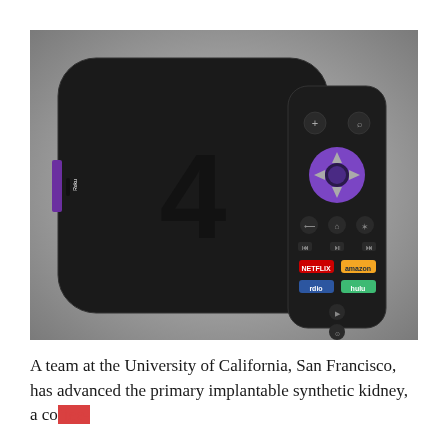[Figure (photo): A Roku 4 streaming device (black, rounded square box with a '4' logo on the front and a Roku purple label on the side) shown alongside its Roku remote control with Netflix, Amazon, Rdio, and Hulu shortcut buttons. The background is a gradient from light grey to white.]
A team at the University of California, San Francisco, has advanced the primary implantable synthetic kidney, a coffee-